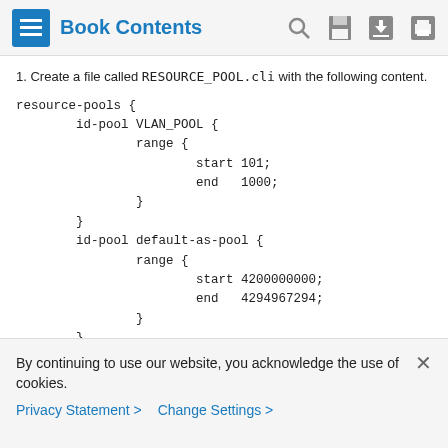Book Contents
1. Create a file called RESOURCE_POOL.cli with the following content.
By continuing to use our website, you acknowledge the use of cookies.